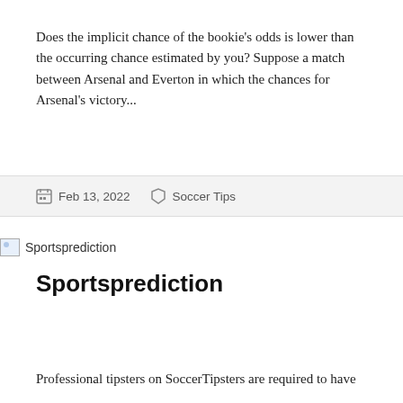Does the implicit chance of the bookie's odds is lower than the occurring chance estimated by you? Suppose a match between Arsenal and Everton in which the chances for Arsenal's victory...
Feb 13, 2022   Soccer Tips
[Figure (photo): Broken image placeholder labeled 'Sportsprediction']
Sportsprediction
Professional tipsters on SoccerTipsters are required to have